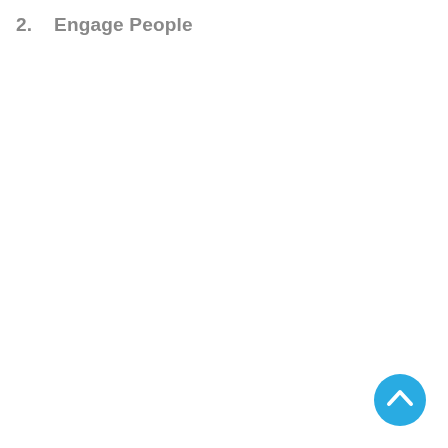2.    Engage People
[Figure (other): A circular blue button with an upward-pointing chevron arrow, positioned in the bottom-right area of the page.]